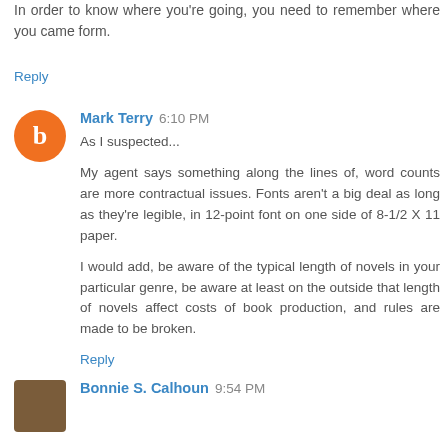In order to know where you're going, you need to remember where you came form.
Reply
Mark Terry  6:10 PM
As I suspected...

My agent says something along the lines of, word counts are more contractual issues. Fonts aren't a big deal as long as they're legible, in 12-point font on one side of 8-1/2 X 11 paper.

I would add, be aware of the typical length of novels in your particular genre, be aware at least on the outside that length of novels affect costs of book production, and rules are made to be broken.
Reply
Bonnie S. Calhoun  9:54 PM